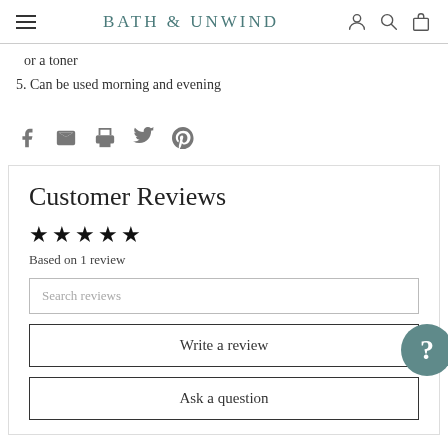BATH & UNWIND
or a toner
5. Can be used morning and evening
Customer Reviews
Based on 1 review
Search reviews
Write a review
Ask a question